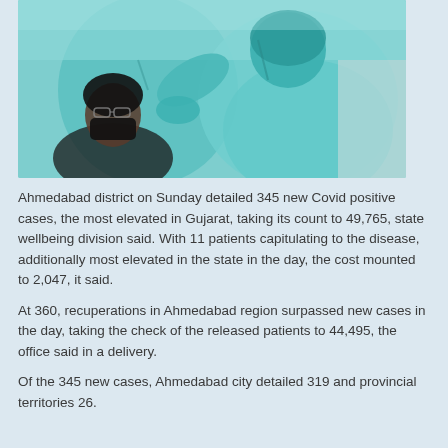[Figure (photo): A healthcare worker in blue PPE gown and mask performing a COVID swab test on a seated patient wearing a black mask and glasses.]
Ahmedabad district on Sunday detailed 345 new Covid positive cases, the most elevated in Gujarat, taking its count to 49,765, state wellbeing division said. With 11 patients capitulating to the disease, additionally most elevated in the state in the day, the cost mounted to 2,047, it said.
At 360, recuperations in Ahmedabad region surpassed new cases in the day, taking the check of the released patients to 44,495, the office said in a delivery.
Of the 345 new cases, Ahmedabad city detailed 319 and provincial territories 26.